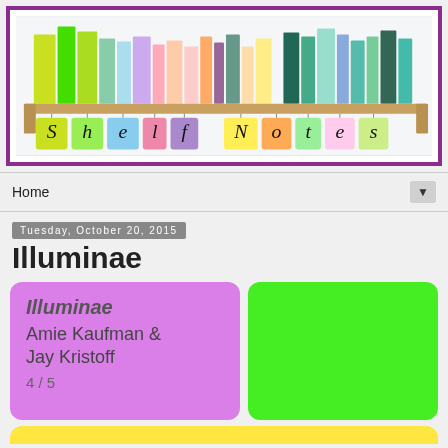[Figure (illustration): Shelf Notes blog banner: colorful books on a wooden shelf with sticky notes spelling 'Shelf Notes' hanging below, purple border]
Home ▼
Tuesday, October 20, 2015
Illuminae
Illuminae
Amie Kaufman & Jay Kristoff
4 / 5